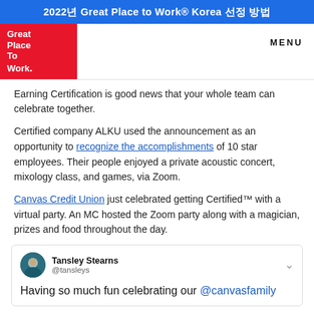2022년 Great Place to Work® Korea 선정 방법
[Figure (logo): Great Place To Work red logo box with white text]
MENU
Earning Certification is good news that your whole team can celebrate together.
Certified company ALKU used the announcement as an opportunity to recognize the accomplishments of 10 star employees. Their people enjoyed a private acoustic concert, mixology class, and games, via Zoom.
Canvas Credit Union just celebrated getting Certified™ with a virtual party. An MC hosted the Zoom party along with a magician, prizes and food throughout the day.
[Figure (screenshot): Embedded tweet from Tansley Stearns @tansleys with avatar photo, showing tweet beginning: Having so much fun celebrating our @canvasfamily]